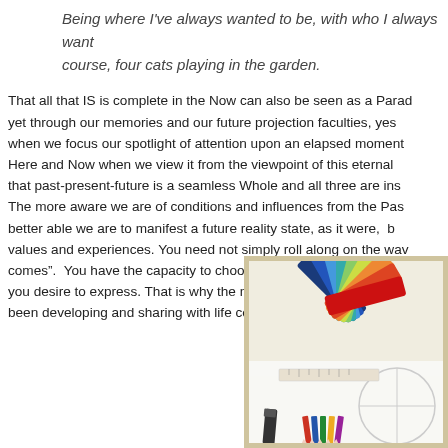Being where I've always wanted to be, with who I always want... course, four cats playing in the garden.
That all that IS is complete in the Now can also be seen as a Parad... yet through our memories and our future projection faculties, yes... when we focus our spotlight of attention upon an elapsed momen... Here and Now when we view it from the viewpoint of this eternal... that past-present-future is a seamless Whole and all three are ins... The more aware we are of conditions and influences from the Pas... better able we are to manifest a future reality state, as it were, b... values and experiences. You need not simply roll along on the wav... comes". You have the capacity to choose and to plan as needed to... you desire to express. That is why the motto or 'tagline' for the ap... been developing and sharing with life coaching is: "Live Your Drea...
[Figure (photo): Photo of colorful paint/color swatches fanned out with drawing tools, pencils, and a protractor on a white background]